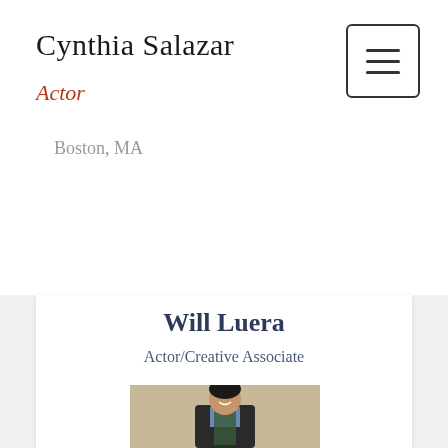Cynthia Salazar
Actor
Boston, MA
Will Luera
Actor/Creative Associate
[Figure (photo): Headshot photo of Will Luera, a man in a dark suit jacket with a green scarf and blue shirt, smiling, standing against a textured beige wall]